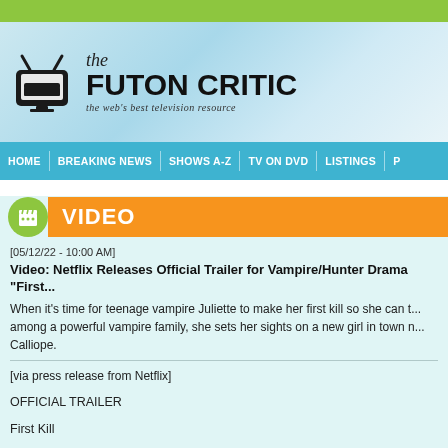the FUTON CRITIC - the web's best television resource
HOME | BREAKING NEWS | SHOWS A-Z | TV ON DVD | LISTINGS
VIDEO
[05/12/22 - 10:00 AM]
Video: Netflix Releases Official Trailer for Vampire/Hunter Drama "First..."
When it's time for teenage vampire Juliette to make her first kill so she can t... among a powerful vampire family, she sets her sights on a new girl in town n... Calliope.
[via press release from Netflix]
OFFICIAL TRAILER
First Kill
Series Premiere Date: June 10, 2022
Format: 8 x 60
Showrunner/Writer/Executive Producer: Felicia D. Henderson